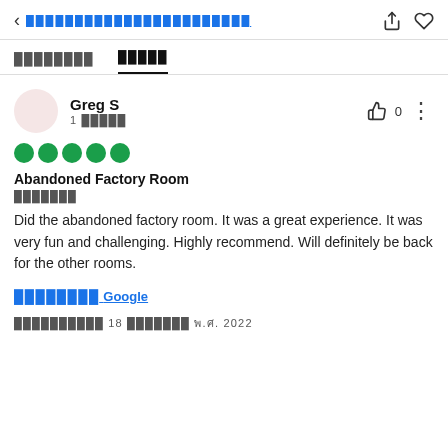< [redacted title]
Tab 1 [redacted]   Tab 2 [redacted] (active)
Greg S
1 [redacted]
[Figure (other): 5 green filled circle rating dots indicating 5-star rating]
Abandoned Factory Room
[redacted]
Did the abandoned factory room. It was a great experience. It was very fun and challenging. Highly recommend. Will definitely be back for the other rooms.
[redacted] Google
[redacted] 18 [redacted] พ.ศ. 2022